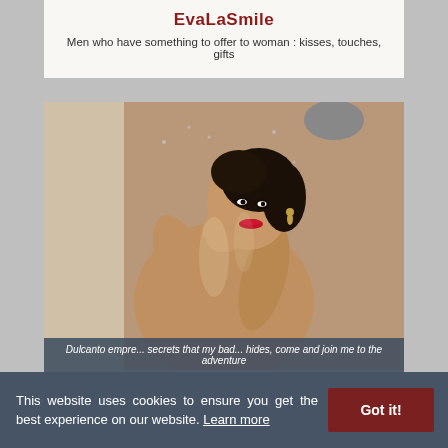EvaLaSmile
Men who have something to offer to woman : kisses, touches, gifts
[Figure (photo): A woman posing in a shower, wet, with red lipstick, dark hair, looking at camera with hands near face]
Dulcanto empre... secrets that my bad... hides, come and join me to the adventure
This website uses cookies to ensure you get the best experience on our website. Learn more
Got it!